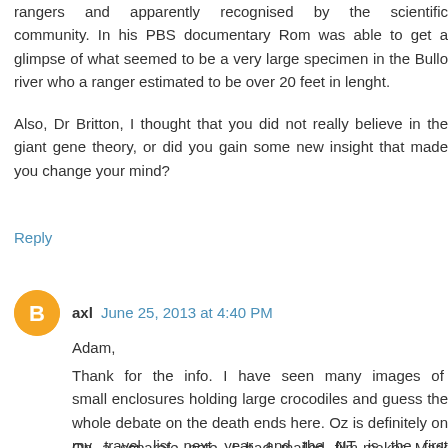rangers and apparently recognised by the scientific community. In his PBS documentary Rom was able to get a glimpse of what seemed to be a very large specimen in the Bullo river who a ranger estimated to be over 20 feet in lenght.
Also, Dr Britton, I thought that you did not really believe in the giant gene theory, or did you gain some new insight that made you change your mind?
Reply
[Figure (illustration): Orange circular blogger avatar icon with a white 'B' letter symbol]
axl  June 25, 2013 at 4:40 PM
Adam,
Thank for the info. I have seen many images of small enclosures holding large crocodiles and guess the whole debate on the death ends here. Oz is definitely on my travel list next year and the NT is the first destination. Steaks, beer and croc watching.
On a separate note, I had mailed film-maker Mark Deeble